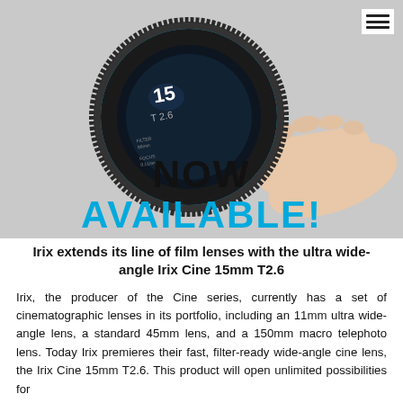[Figure (photo): A hand holding a black Irix Cine 15mm T2.6 cinema lens against a light gray background. The lens shows the focal length markings and blue accent ring. Text overlay reads 'NOW AVAILABLE!' with NOW in black and AVAILABLE! in cyan/blue.]
Irix extends its line of film lenses with the ultra wide-angle Irix Cine 15mm T2.6
Irix, the producer of the Cine series, currently has a set of cinematographic lenses in its portfolio, including an 11mm ultra wide-angle lens, a standard 45mm lens, and a 150mm macro telephoto lens. Today Irix premieres their fast, filter-ready wide-angle cine lens, the Irix Cine 15mm T2.6. This product will open unlimited possibilities for